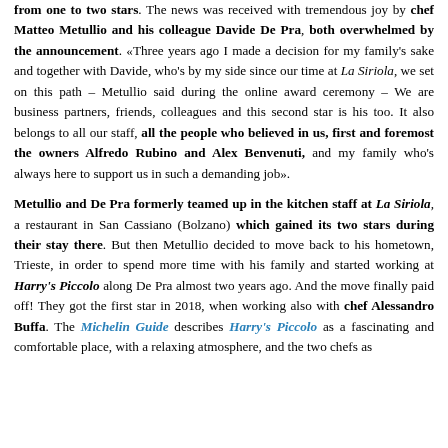from one to two stars. The news was received with tremendous joy by chef Matteo Metullio and his colleague Davide De Pra, both overwhelmed by the announcement. «Three years ago I made a decision for my family's sake and together with Davide, who's by my side since our time at La Siriola, we set on this path – Metullio said during the online award ceremony – We are business partners, friends, colleagues and this second star is his too. It also belongs to all our staff, all the people who believed in us, first and foremost the owners Alfredo Rubino and Alex Benvenuti, and my family who's always here to support us in such a demanding job».
Metullio and De Pra formerly teamed up in the kitchen staff at La Siriola, a restaurant in San Cassiano (Bolzano) which gained its two stars during their stay there. But then Metullio decided to move back to his hometown, Trieste, in order to spend more time with his family and started working at Harry's Piccolo along De Pra almost two years ago. And the move finally paid off! They got the first star in 2018, when working also with chef Alessandro Buffa. The Michelin Guide describes Harry's Piccolo as a fascinating and comfortable place, with a relaxing atmosphere, and the two chefs as